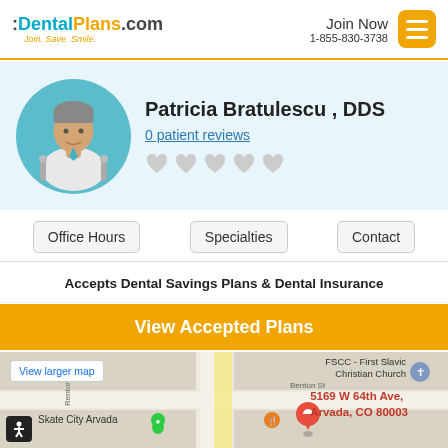:DentalPlans.com Join. Save. Smile. | Join Now 1-855-830-3738
[Figure (illustration): Doctor/dentist avatar illustration in teal circle with dental tools]
Patricia Bratulescu , DDS
0 patient reviews
Office Hours | Specialties | Contact
Accepts Dental Savings Plans & Dental Insurance
View Accepted Plans
[Figure (map): Google Maps screenshot showing location at 5169 W 64th Ave, Arvada, CO 80003 near FSCC - First Slavic Christian Church and Skate City Arvada]